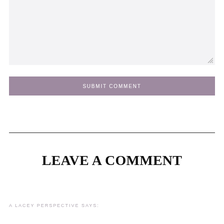[Figure (screenshot): A light grey textarea input box with a resize handle in the bottom-right corner]
SUBMIT COMMENT
[Figure (other): A horizontal black divider line]
LEAVE A COMMENT
A LACEY PERSPECTIVE SAYS: